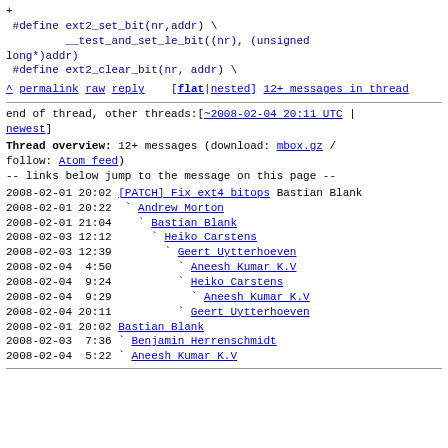+ #define ext2_set_bit(nr,addr) \ __test_and_set_le_bit((nr), (unsigned long*)addr) #define ext2_clear_bit(nr, addr) \
^ permalink raw reply [flat|nested] 12+ messages in thread
end of thread, other threads:[~2008-02-04 20:11 UTC | newest]
Thread overview: 12+ messages (download: mbox.gz / follow: Atom feed) -- links below jump to the message on this page --
2008-02-01 20:02 [PATCH] Fix ext4 bitops Bastian Blank
2008-02-01 20:22  ` Andrew Morton
2008-02-01 21:04    ` Bastian Blank
2008-02-03 12:12      ` Heiko Carstens
2008-02-03 12:39        ` Geert Uytterhoeven
2008-02-04  4:50          ` Aneesh Kumar K.V
2008-02-04  9:24          ` Heiko Carstens
2008-02-04  9:29            ` Aneesh Kumar K.V
2008-02-04 20:11          ` Geert Uytterhoeven
2008-02-01 20:02 Bastian Blank
2008-02-03  7:36 ` Benjamin Herrenschmidt
2008-02-04  5:22 ` Aneesh Kumar K.V